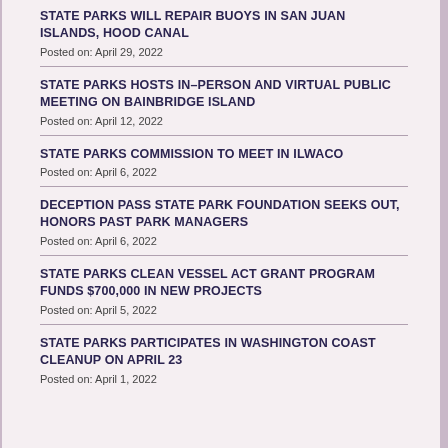STATE PARKS WILL REPAIR BUOYS IN SAN JUAN ISLANDS, HOOD CANAL
Posted on: April 29, 2022
STATE PARKS HOSTS IN-PERSON AND VIRTUAL PUBLIC MEETING ON BAINBRIDGE ISLAND
Posted on: April 12, 2022
STATE PARKS COMMISSION TO MEET IN ILWACO
Posted on: April 6, 2022
DECEPTION PASS STATE PARK FOUNDATION SEEKS OUT, HONORS PAST PARK MANAGERS
Posted on: April 6, 2022
STATE PARKS CLEAN VESSEL ACT GRANT PROGRAM FUNDS $700,000 IN NEW PROJECTS
Posted on: April 5, 2022
STATE PARKS PARTICIPATES IN WASHINGTON COAST CLEANUP ON APRIL 23
Posted on: April 1, 2022